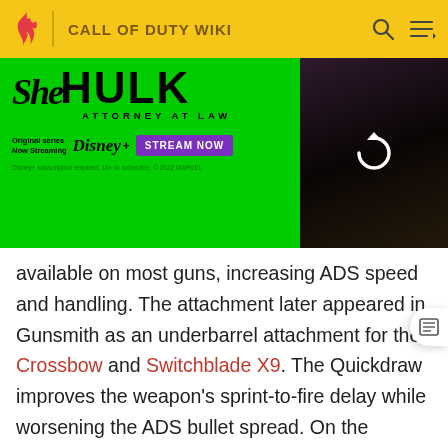CALL OF DUTY WIKI
[Figure (screenshot): She-Hulk: Attorney at Law Disney+ advertisement banner with green background, show title, Disney+ logo, Stream Now button, and image of actress on right side]
available on most guns, increasing ADS speed and handling. The attachment later appeared in Gunsmith as an underbarrel attachment for the Crossbow and Switchblade X9. The Quickdraw improves the weapon's sprint-to-fire delay while worsening the ADS bullet spread. On the Crossbow, the Quickdraw has an additional upside of improved ADS time and an additional downside of reduced hip fire accuracy.
Call of Duty: Black Ops Cold War